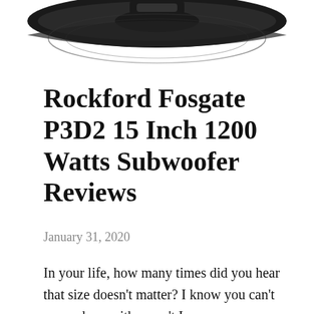[Figure (photo): Partial view of a Rockford Fosgate subwoofer speaker, showing the top portion of the speaker cone and basket in black, cropped at the top of the page.]
Rockford Fosgate P3D2 15 Inch 1200 Watts Subwoofer Reviews
January 31, 2020
In your life, how many times did you hear that size doesn't matter? I know you can't remember, neither can't I...